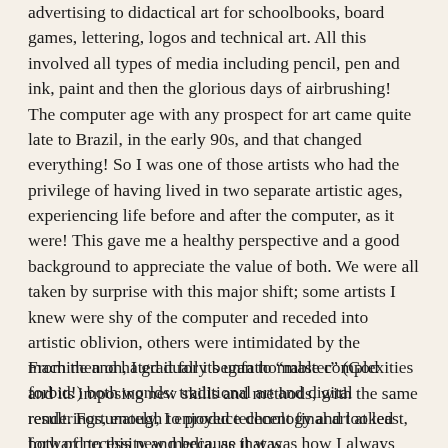advertising to didactical art for schoolbooks, board games, lettering, logos and technical art. All this involved all types of media including pencil, pen and ink, paint and then the glorious days of airbrushing! The computer age with any prospect for art came quite late to Brazil, in the early 90s, and that changed everything! So I was one of those artists who had the privilege of having lived in two separate artistic ages, experiencing life before and after the computer, as it were! This gave me a healthy perspective and a good background to appreciate the value of both. We were all taken by surprise with this major shift; some artists I knew were shy of the computer and receded into artistic oblivion, others were intimidated by the machine and hated it for its unfathomable complexities and its imposing new skills and methods, with the same result. Fortunately, I enjoyed technology and looked forward to this new media, as that was how I always felt towards all media available. The reliability of these technologies eventually came of age and so did I.
From then on, I gradually began to “master” (God forbid!) both worlds: traditional art and digital renderings, enough to produce decent final art at least, both of necessity and because it was